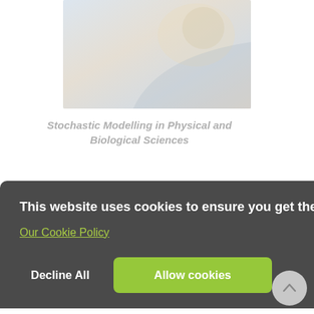[Figure (illustration): Faded/ghosted book cover for a textbook titled 'Stochastic Modelling in Physical and Biological Sciences', shown at top of page with muted colors]
Stochastic Modelling in Physical and Biological Sciences
This website uses cookies to ensure you get the best experience on our website.
Our Cookie Policy
Decline All
Allow cookies